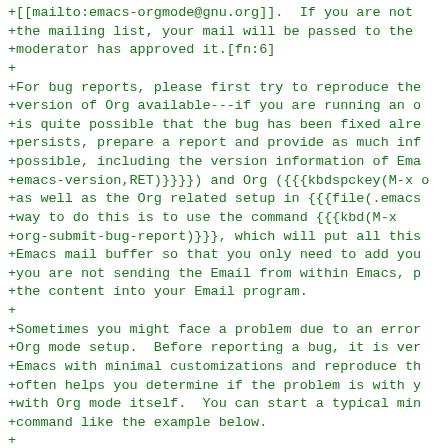+[[mailto:emacs-orgmode@gnu.org]].  If you are not
+the mailing list, your mail will be passed to the
+moderator has approved it.[fn:6]
+
+For bug reports, please first try to reproduce the
+version of Org available---if you are running an o
+is quite possible that the bug has been fixed alre
+persists, prepare a report and provide as much inf
+possible, including the version information of Ema
+emacs-version,RET)}}}}) and Org ({{{kbdspckey(M-x o
+as well as the Org related setup in {{{file(.emacs
+way to do this is to use the command {{{kbd(M-x
+org-submit-bug-report)}}}, which will put all this
+Emacs mail buffer so that you only need to add you
+you are not sending the Email from within Emacs, p
+the content into your Email program.
+
+Sometimes you might face a problem due to an error
+Org mode setup.  Before reporting a bug, it is ver
+Emacs with minimal customizations and reproduce th
+often helps you determine if the problem is with y
+with Org mode itself.  You can start a typical min
+command like the example below.
+
+#+begin_src sh :exports code
+$ emacs -Q -l /path/to/minimal-org.el
+#+end_src
+
+However if you are using Org mode distributed with
+setup is not necessary.  In that case it is suffic